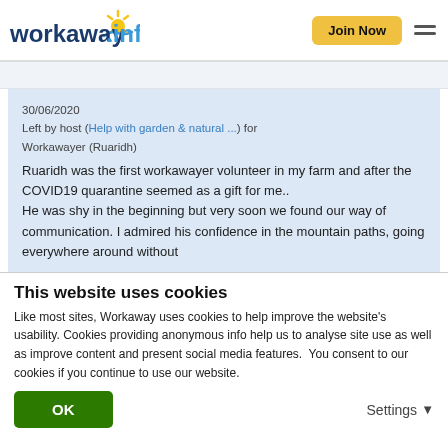workaway.info — Join Now (navigation header)
30/06/2020
Left by host (Help with garden & natural ...) for Workawayer (Ruaridh)

Ruaridh was the first workawayer volunteer in my farm and after the COVID19 quarantine seemed as a gift for me..
He was shy in the beginning but very soon we found our way of communication. I admired his confidence in the mountain paths, going everywhere around without
This website uses cookies
Like most sites, Workaway uses cookies to help improve the website's usability. Cookies providing anonymous info help us to analyse site use as well as improve content and present social media features.  You consent to our cookies if you continue to use our website.
OK
Settings